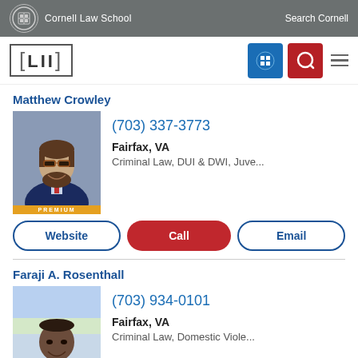Cornell Law School | Search Cornell
LII
Matthew Crowley
(703) 337-3773
Fairfax, VA
Criminal Law, DUI & DWI, Juve...
[Figure (photo): Professional headshot of Matthew Crowley, a man with beard and glasses wearing a suit with red tie. PREMIUM label at bottom.]
Website
Call
Email
Faraji A. Rosenthall
(703) 934-0101
Fairfax, VA
Criminal Law, Domestic Viole...
[Figure (photo): Professional photo of Faraji A. Rosenthall, a man smiling wearing a light gray suit. Outdoor setting with blurred background. PREMIUM label at bottom.]